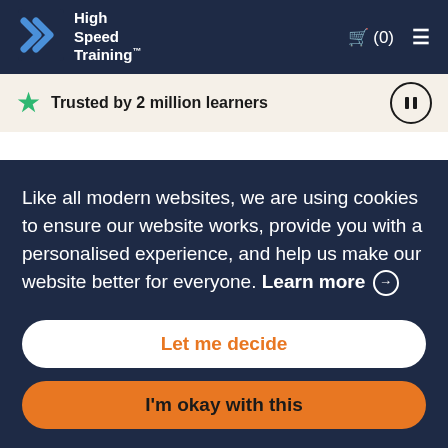[Figure (logo): High Speed Training logo with blue double arrow chevron icon and white text on dark navy background]
Trusted by 2 million learners
Like all modern websites, we are using cookies to ensure our website works, provide you with a personalised experience, and help us make our website better for everyone. Learn more →
Let me decide
I'm okay with this